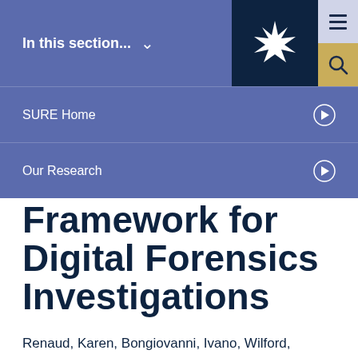In this section...
SURE Home
Our Research
Framework for Digital Forensics Investigations
Renaud, Karen, Bongiovanni, Ivano, Wilford,